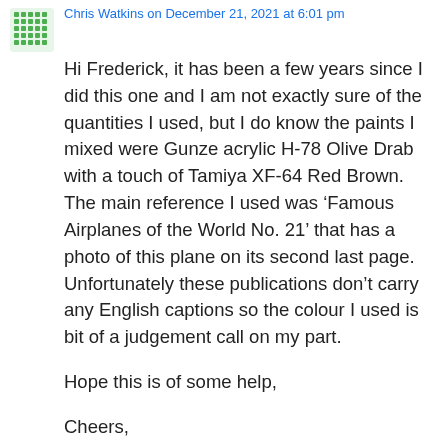Chris Watkins on December 21, 2021 at 6:01 pm
Hi Frederick, it has been a few years since I did this one and I am not exactly sure of the quantities I used, but I do know the paints I mixed were Gunze acrylic H-78 Olive Drab with a touch of Tamiya XF-64 Red Brown. The main reference I used was ‘Famous Airplanes of the World No. 21’ that has a photo of this plane on its second last page. Unfortunately these publications don’t carry any English captions so the colour I used is bit of a judgement call on my part.
Hope this is of some help,
Cheers,
Chris